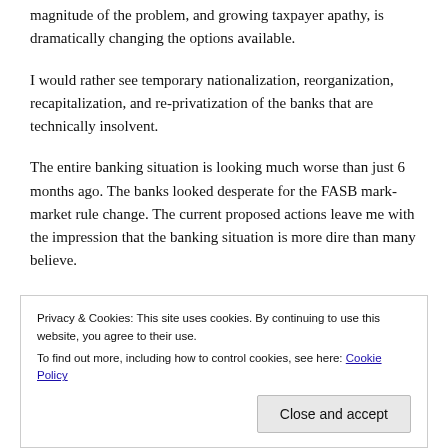magnitude of the problem, and growing taxpayer apathy, is dramatically changing the options available.
I would rather see temporary nationalization, reorganization, recapitalization, and re-privatization of the banks that are technically insolvent.
The entire banking situation is looking much worse than just 6 months ago. The banks looked desperate for the FASB mark-market rule change. The current proposed actions leave me with the impression that the banking situation is more dire than many believe.
Consumer loan defaults are increasing (auto, credit card, boats,
Privacy & Cookies: This site uses cookies. By continuing to use this website, you agree to their use. To find out more, including how to control cookies, see here: Cookie Policy
American taxpayers, conservative and liberal, are getting mad